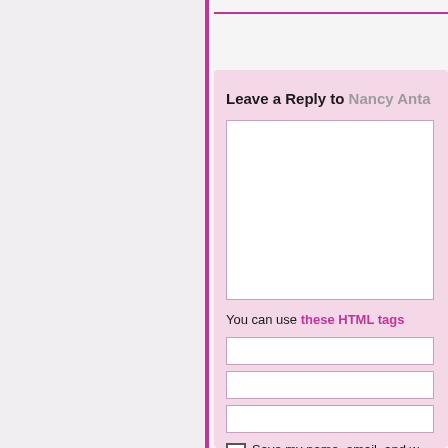Leave a Reply to Nancy Anta
You can use these HTML tags
Save my name, email, and website in this browser for the next time I comment.
Post Comment